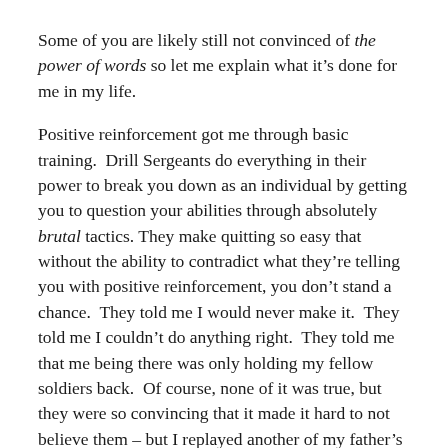Some of you are likely still not convinced of the power of words so let me explain what it’s done for me in my life.
Positive reinforcement got me through basic training.  Drill Sergeants do everything in their power to break you down as an individual by getting you to question your abilities through absolutely brutal tactics. They make quitting so easy that without the ability to contradict what they’re telling you with positive reinforcement, you don’t stand a chance.  They told me I would never make it.  They told me I couldn’t do anything right.  They told me that me being there was only holding my fellow soldiers back.  Of course, none of it was true, but they were so convincing that it made it hard to not believe them – but I replayed another of my father’s mantra’s in my head; you can do anything you set your mind to.
The trick was learning how to truly set my mind to